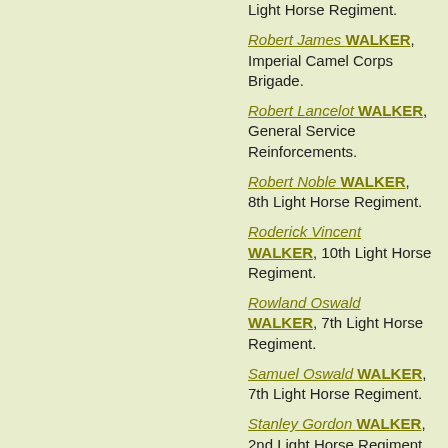Light Horse Regiment.
Robert James WALKER, Imperial Camel Corps Brigade.
Robert Lancelot WALKER, General Service Reinforcements.
Robert Noble WALKER, 8th Light Horse Regiment.
Roderick Vincent WALKER, 10th Light Horse Regiment.
Rowland Oswald WALKER, 7th Light Horse Regiment.
Samuel Oswald WALKER, 7th Light Horse Regiment.
Stanley Gordon WALKER, 2nd Light Horse Regiment.
Stanley Mark WALKER, 6th Light Horse Regiment.
Stephen Thomas WALKER, 5th Light Horse Regiment.
Tasman Richard WALKER, 3rd Light Horse Regiment.